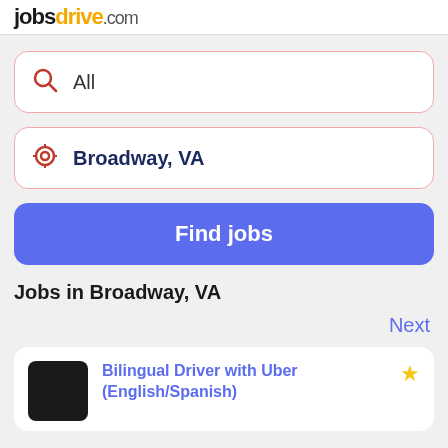jobsdrive.com
All
Broadway, VA
Find jobs
Jobs in Broadway, VA
Next
Bilingual Driver with Uber (English/Spanish)